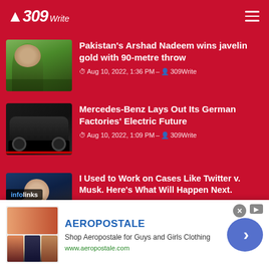309Write
Pakistan's Arshad Nadeem wins javelin gold with 90-metre throw — Aug 10, 2022, 1:36 PM — 309Write
Mercedes-Benz Lays Out Its German Factories' Electric Future — Aug 10, 2022, 1:09 PM — 309Write
I Used to Work on Cases Like Twitter v. Musk. Here's What Will Happen Next. — Aug 3, 2022, 10:52 AM — 309Write
[Figure (infographic): Aeropostale advertisement banner with logo, product images, and link to www.aeropostale.com]